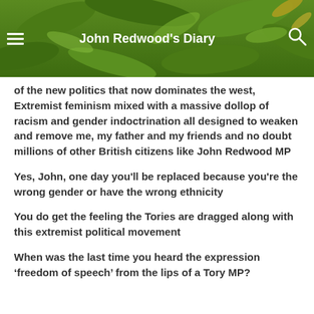John Redwood's Diary
of the new politics that now dominates the west, Extremist feminism mixed with a massive dollop of racism and gender indoctrination all designed to weaken and remove me, my father and my friends and no doubt millions of other British citizens like John Redwood MP
Yes, John, one day you'll be replaced because you're the wrong gender or have the wrong ethnicity
You do get the feeling the Tories are dragged along with this extremist political movement
When was the last time you heard the expression ‘freedom of speech’ from the lips of a Tory MP?